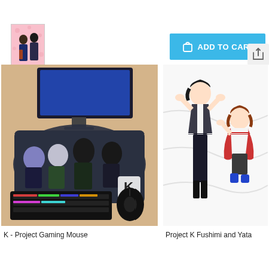[Figure (photo): Small thumbnail of anime characters on pink background]
[Figure (screenshot): Blue Add to Cart button with shopping bag icon]
[Figure (screenshot): Gray share/back arrow button]
[Figure (photo): K - Project Gaming Mouse Pad shown on desk with keyboard and mouse]
[Figure (photo): Project K Fushimi and Yata anime dakimakura pillow cover showing two characters lying down]
K - Project Gaming Mouse
Project K Fushimi and Yata